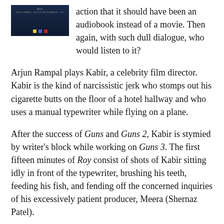[Figure (other): Movie poster thumbnail for Roy (Bollywood film), dark blue background with small text and colored rectangles at the bottom]
action that it should have been an audiobook instead of a movie. Then again, with such dull dialogue, who would listen to it?
Arjun Rampal plays Kabir, a celebrity film director. Kabir is the kind of narcissistic jerk who stomps out his cigarette butts on the floor of a hotel hallway and who uses a manual typewriter while flying on a plane.
After the success of Guns and Guns 2, Kabir is stymied by writer’s block while working on Guns 3. The first fifteen minutes of Roy consist of shots of Kabir sitting idly in front of the typewriter, brushing his teeth, feeding his fish, and fending off the concerned inquiries of his excessively patient producer, Meera (Shernaz Patel).
In the world of Roy, news reports consist entirely of details of Kabir’s romantic life and reports of art theft. A TV report about a painting stolen in Malaysia prompts Kabir to take his